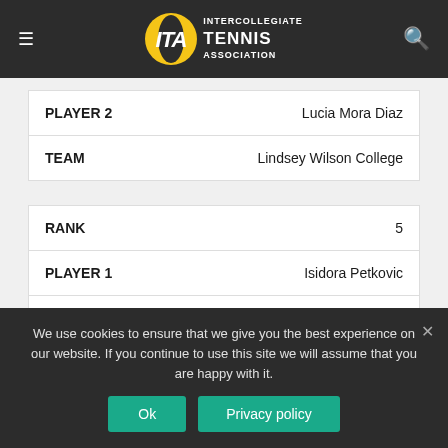[Figure (logo): ITA Intercollegiate Tennis Association logo with hamburger menu and search icon on dark nav bar]
| Field | Value |
| --- | --- |
| PLAYER 2 | Lucia Mora Diaz |
| TEAM | Lindsey Wilson College |
| Field | Value |
| --- | --- |
| RANK | 5 |
| PLAYER 1 | Isidora Petkovic |
| PLAYER 2 | Karen Kondo |
| TEAM | Union College/KY |
We use cookies to ensure that we give you the best experience on our website. If you continue to use this site we will assume that you are happy with it.